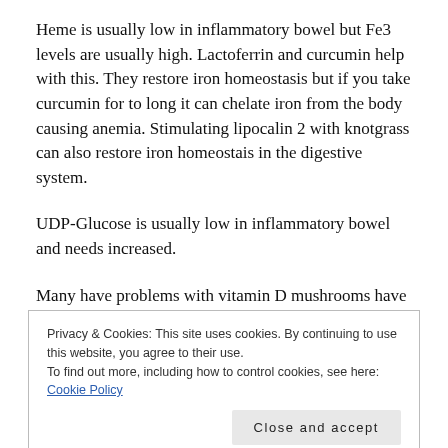Heme is usually low in inflammatory bowel but Fe3 levels are usually high. Lactoferrin and curcumin help with this. They restore iron homeostasis but if you take curcumin for to long it can chelate iron from the body causing anemia. Stimulating lipocalin 2 with knotgrass can also restore iron homeostais in the digestive system.
UDP-Glucose is usually low in inflammatory bowel and needs increased.
Many have problems with vitamin D mushrooms have a
Privacy & Cookies: This site uses cookies. By continuing to use this website, you agree to their use. To find out more, including how to control cookies, see here: Cookie Policy
Close and accept
Cholecystokinin is usually high in inflammatory bowel.